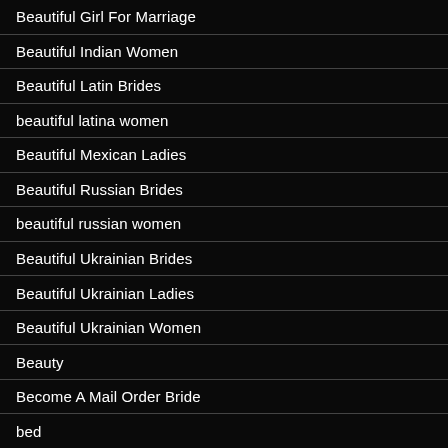Beautiful Girl For Marriage
Beautiful Indian Women
Beautiful Latin Brides
beautiful latina women
Beautiful Mexican Ladies
Beautiful Russian Brides
beautiful russian women
Beautiful Ukrainian Brides
Beautiful Ukrainian Ladies
Beautiful Ukrainian Women
Beauty
Become A Mail Order Bride
bed